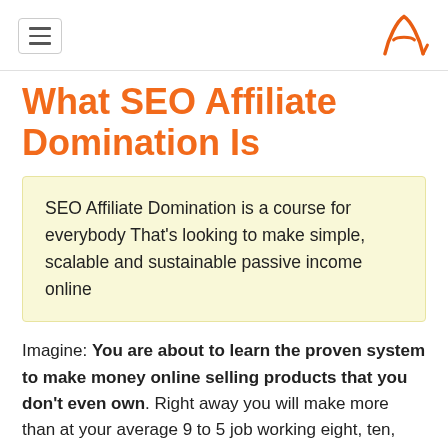≡  [logo A]
What SEO Affiliate Domination Is
SEO Affiliate Domination is a course for everybody That's looking to make simple, scalable and sustainable passive income online
Imagine: You are about to learn the proven system to make money online selling products that you don't even own. Right away you will make more than at your average 9 to 5 job working eight, ten, twelve, fourteen-hour days. As you observe the system and apply what is taught,